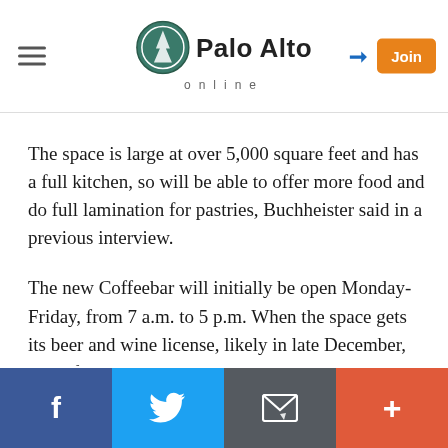Palo Alto online
The space is large at over 5,000 square feet and has a full kitchen, so will be able to offer more food and do full lamination for pastries, Buchheister said in a previous interview.
The new Coffeebar will initially be open Monday-Friday, from 7 a.m. to 5 p.m. When the space gets its beer and wine license, likely in late December, the cafe will be open seven days a week and later in the evenings, Buchheister said.
For those of you who are worried about parking there,
f  Twitter  Email  +